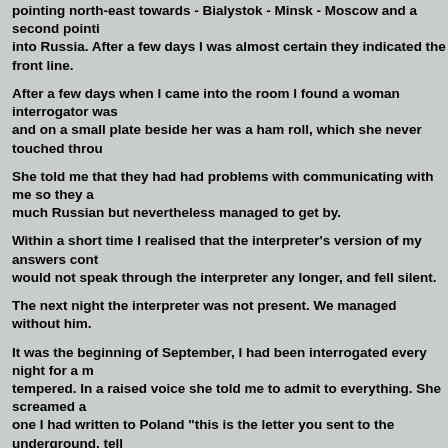pointing north-east towards - Bialystok - Minsk - Moscow and a second pointing into Russia. After a few days I was almost certain they indicated the front line.
After a few days when I came into the room I found a woman interrogator was and on a small plate beside her was a ham roll, which she never touched throu.
She told me that they had had problems with communicating with me so they a much Russian but nevertheless managed to get by.
Within a short time I realised that the interpreter's version of my answers cont would not speak through the interpreter any longer, and fell silent.
The next night the interpreter was not present. We managed without him.
It was the beginning of September, I had been interrogated every night for a m tempered. In a raised voice she told me to admit to everything. She screamed a one I had written to Poland "this is the letter you sent to the underground, tell
I fell silent - there was nothing more to be said.
The arrows on the map were very encouraging. They continued to move forwa like a clarion call to freedom. The all clear was sounded Silence fell all around.
My interrogations were halted for a while. I thought they were preparing for a a different direction in the interrogation building. We went up many flights of
I entered a very brightly lit hall. In the middle of it under a huge lamp stood a was totally paralysed by this sight. I sat on the chair because they told me to do
I could not answer any of their questions. My jaws chattered, my teeth rattled,